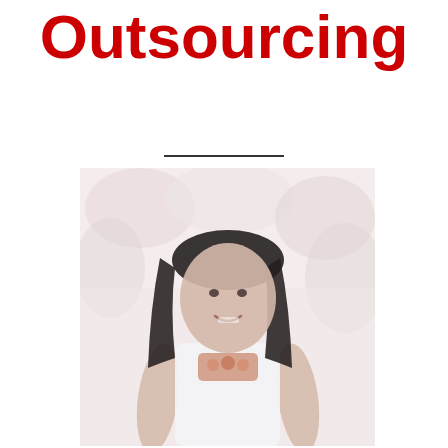Outsourcing
[Figure (photo): A smiling young woman with long dark hair wearing a white top and a colorful necklace, standing in front of a stone or architectural background. The photo has a washed-out, light reddish-white tone.]